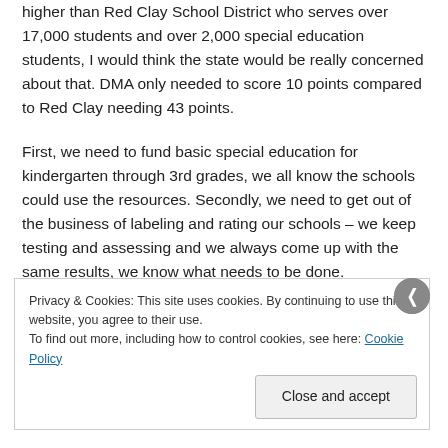higher than Red Clay School District who serves over 17,000 students and over 2,000 special education students, I would think the state would be really concerned about that. DMA only needed to score 10 points compared to Red Clay needing 43 points.
First, we need to fund basic special education for kindergarten through 3rd grades, we all know the schools could use the resources. Secondly, we need to get out of the business of labeling and rating our schools – we keep testing and assessing and we always come up with the same results, we know what needs to be done.
Privacy & Cookies: This site uses cookies. By continuing to use this website, you agree to their use. To find out more, including how to control cookies, see here: Cookie Policy
Close and accept